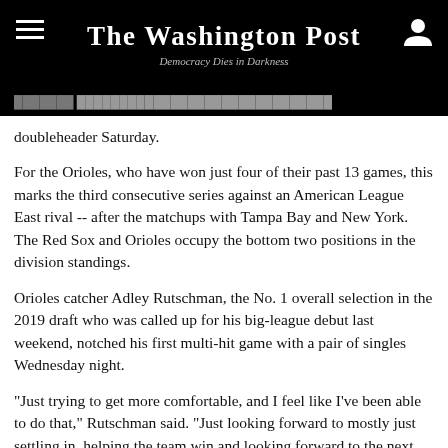The Washington Post
Democracy Dies in Darkness
doubleheader Saturday.
For the Orioles, who have won just four of their past 13 games, this marks the third consecutive series against an American League East rival -- after the matchups with Tampa Bay and New York. The Red Sox and Orioles occupy the bottom two positions in the division standings.
Orioles catcher Adley Rutschman, the No. 1 overall selection in the 2019 draft who was called up for his big-league debut last weekend, notched his first multi-hit game with a pair of singles Wednesday night.
"Just trying to get more comfortable, and I feel like I've been able to do that," Rutschman said. "Just looking forward to mostly just settling in, helping the team win and looking forward to the next road series."
Second baseman Rougned Odor, who had a pair of game-